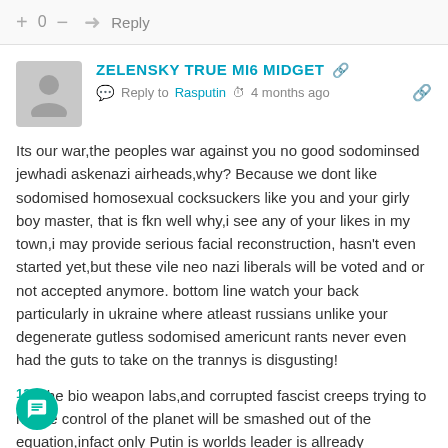+ 0 —  Reply
ZELENSKY TRUE MI6 MIDGET
Reply to Rasputin  4 months ago
Its our war,the peoples war against you no good sodominsed jewhadi askenazi airheads,why? Because we dont like sodomised homosexual cocksuckers like you and your girly boy master, that is fkn well why,i see any of your likes in my town,i may provide serious facial reconstruction, hasn't even started yet,but these vile neo nazi liberals will be voted and or not accepted anymore. bottom line watch your back particularly in ukraine where atleast russians unlike your degenerate gutless sodomised americunt rants never even had the guts to take on the trannys is disgusting!
The bio weapon labs,and corrupted fascist creeps trying to nforce control of the planet will be smashed out of the equation,infact only Putin is worlds leader is allready destroying the plot, but hey you insolvent homosexual orientated